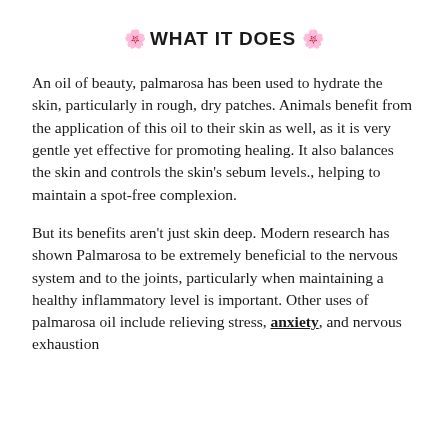🌸 WHAT IT DOES 🌸
An oil of beauty, palmarosa has been used to hydrate the skin, particularly in rough, dry patches. Animals benefit from the application of this oil to their skin as well, as it is very gentle yet effective for promoting healing. It also balances the skin and controls the skin's sebum levels., helping to maintain a spot-free complexion.
But its benefits aren't just skin deep. Modern research has shown Palmarosa to be extremely beneficial to the nervous system and to the joints, particularly when maintaining a healthy inflammatory level is important. Other uses of palmarosa oil include relieving stress, anxiety, and nervous exhaustion